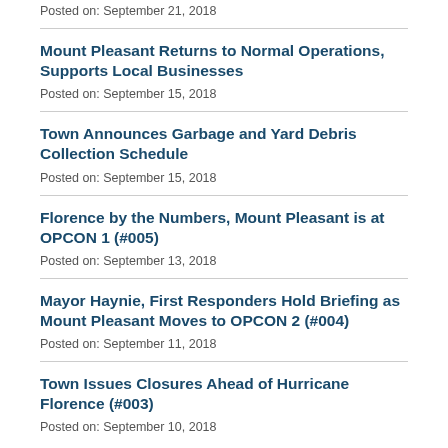Posted on: September 21, 2018
Mount Pleasant Returns to Normal Operations, Supports Local Businesses
Posted on: September 15, 2018
Town Announces Garbage and Yard Debris Collection Schedule
Posted on: September 15, 2018
Florence by the Numbers, Mount Pleasant is at OPCON 1 (#005)
Posted on: September 13, 2018
Mayor Haynie, First Responders Hold Briefing as Mount Pleasant Moves to OPCON 2 (#004)
Posted on: September 11, 2018
Town Issues Closures Ahead of Hurricane Florence (#003)
Posted on: September 10, 2018